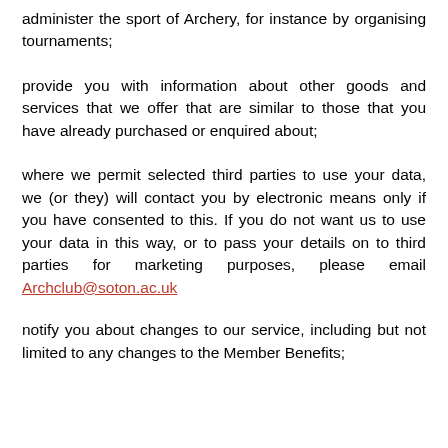administer the sport of Archery, for instance by organising tournaments;
provide you with information about other goods and services that we offer that are similar to those that you have already purchased or enquired about;
where we permit selected third parties to use your data, we (or they) will contact you by electronic means only if you have consented to this. If you do not want us to use your data in this way, or to pass your details on to third parties for marketing purposes, please email Archclub@soton.ac.uk
notify you about changes to our service, including but not limited to any changes to the Member Benefits;